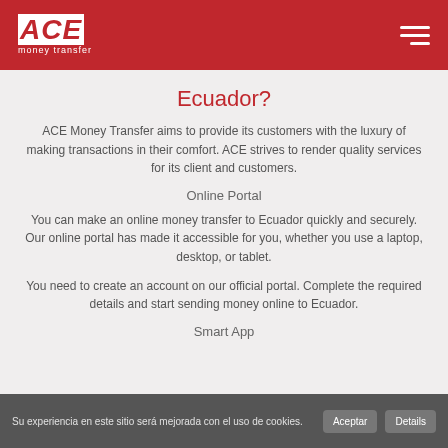ACE money transfer
Ecuador?
ACE Money Transfer aims to provide its customers with the luxury of making transactions in their comfort. ACE strives to render quality services for its client and customers.
Online Portal
You can make an online money transfer to Ecuador quickly and securely. Our online portal has made it accessible for you, whether you use a laptop, desktop, or tablet.
You need to create an account on our official portal. Complete the required details and start sending money online to Ecuador.
Smart App
Su experiencia en este sitio será mejorada con el uso de cookies.